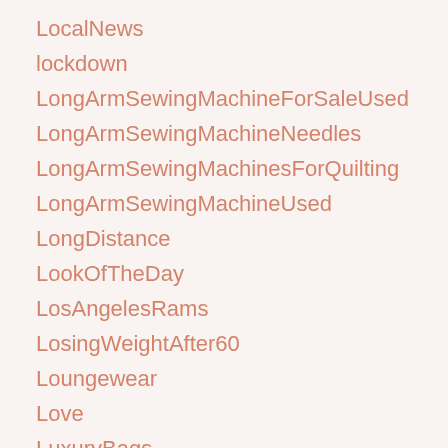LocalNews
lockdown
LongArmSewingMachineForSaleUsed
LongArmSewingMachineNeedles
LongArmSewingMachinesForQuilting
LongArmSewingMachineUsed
LongDistance
LookOfTheDay
LosAngelesRams
LosingWeightAfter60
Loungewear
Love
LuxuryBags
Macy
M...